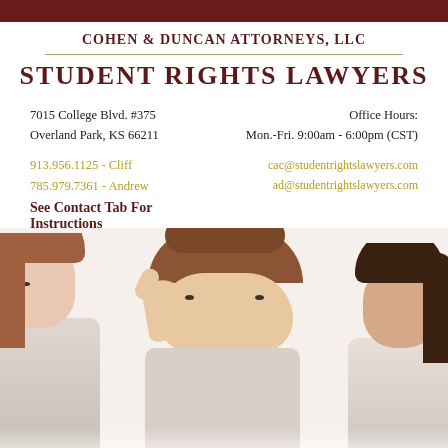COHEN & DUNCAN ATTORNEYS, LLC
STUDENT RIGHTS LAWYERS
7015 College Blvd. #375
Overland Park, KS 66211
Office Hours:
Mon.-Fri. 9:00am - 6:00pm (CST)
913.956.1125 - Cliff
785.979.7361 - Andrew
See Contact Tab For Instructions
cac@studentrightslawyers.com
ad@studentrightslawyers.com
[Figure (photo): Photo of three young students/teenagers, with center student giving a thumbs-up gesture]